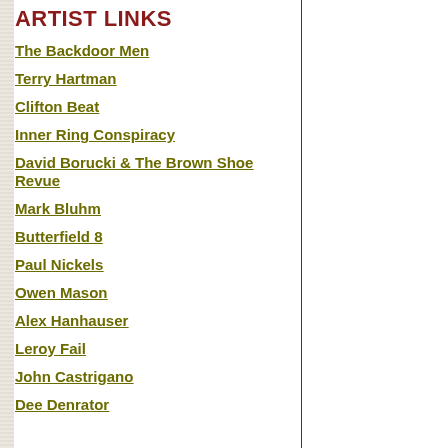ARTIST LINKS
The Backdoor Men
Terry Hartman
Clifton Beat
Inner Ring Conspiracy
David Borucki & The Brown Shoe Revue
Mark Bluhm
Butterfield 8
Paul Nickels
Owen Mason
Alex Hanhauser
Leroy Fail
John Castrigano
Dee Denrator